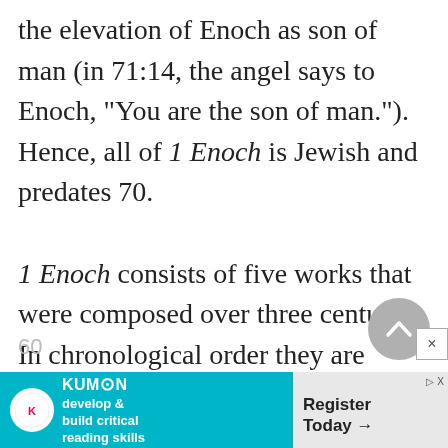the elevation of Enoch as son of man (in 71:14, the angel says to Enoch, "You are the son of man."). Hence, all of 1 Enoch is Jewish and predates 70.

1 Enoch consists of five works that were composed over three centuries. In chronological order they are Enoch's Astronomical Book (1 Enoch 72–82), from the third century bce; Enoch's Journeys (1 Enoch 1–36), from pre-160 bce; Enoch's Dream
[Figure (other): Circular scroll-to-top button with upward chevron arrow, gray background]
[Figure (other): Advertisement banner for Kumon: 'develop & build critical reading skills' with 'Register Today' call to action]
60